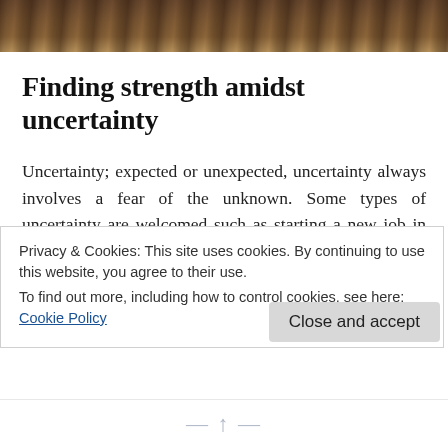[Figure (photo): Photo strip at top of page showing wooden surface or railing, brown tones]
Finding strength amidst uncertainty
Uncertainty; expected or unexpected, uncertainty always involves a fear of the unknown. Some types of uncertainty are welcomed such as starting a new job in the hopes of a more rewarding career or moving to a new city for a fresh start. The uncertainty in these situations is manageable since they're predetermined and so there's still some
Privacy & Cookies: This site uses cookies. By continuing to use this website, you agree to their use.
To find out more, including how to control cookies, see here: Cookie Policy
Close and accept